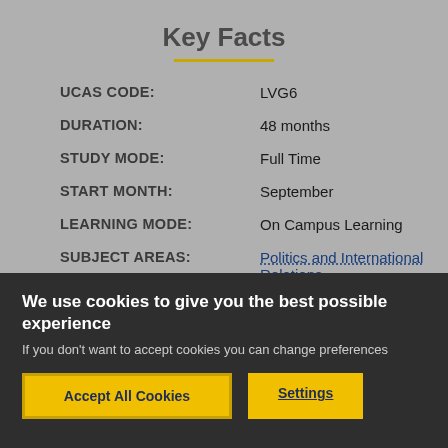Key Facts
| Field | Value |
| --- | --- |
| UCAS CODE: | LVG6 |
| DURATION: | 48 months |
| STUDY MODE: | Full Time |
| START MONTH: | September |
| LEARNING MODE: | On Campus Learning |
| SUBJECT AREAS: | Politics and International Relations, |
We use cookies to give you the best possible experience
If you don't want to accept cookies you can change preferences
Accept All Cookies
Settings